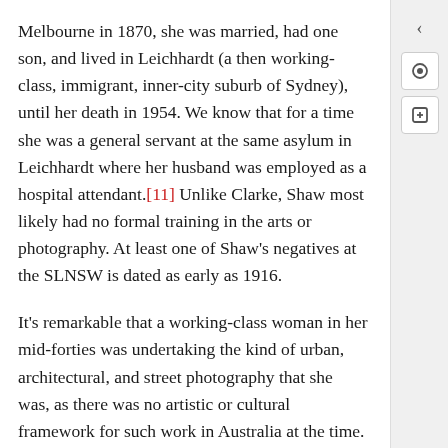Melbourne in 1870, she was married, had one son, and lived in Leichhardt (a then working-class, immigrant, inner-city suburb of Sydney), until her death in 1954. We know that for a time she was a general servant at the same asylum in Leichhardt where her husband was employed as a hospital attendant.[11] Unlike Clarke, Shaw most likely had no formal training in the arts or photography. At least one of Shaw's negatives at the SLNSW is dated as early as 1916.
It's remarkable that a working-class woman in her mid-forties was undertaking the kind of urban, architectural, and street photography that she was, as there was no artistic or cultural framework for such work in Australia at the time. That she took pride in her photography and approached it as a vocation is indicated by several factors. She inscribed many of her negatives with the signature "E. G. Shaw"; she was also, along with fellow